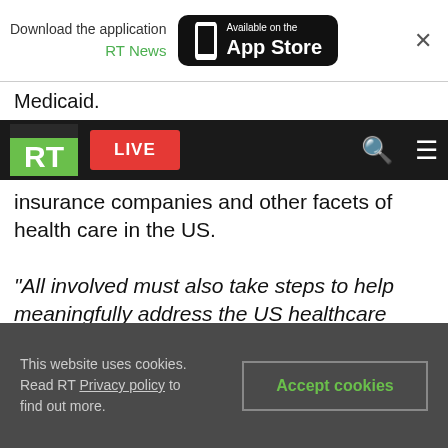[Figure (screenshot): App Store download banner with RT News logo, phone icon, and App Store button]
Medicaid.
[Figure (screenshot): RT news website navigation bar with RT logo, LIVE button, search icon, and hamburger menu]
insurance companies and other facets of health care in the US.
"All involved must also take steps to help meaningfully address the US healthcare crisis, and we are committed to do our part to drive change," company CEO Heather Bresch said in an August statement.
Mylan said discounts for EpiPen that it announced in August will apply to the generic version,
This website uses cookies. Read RT Privacy policy to find out more.